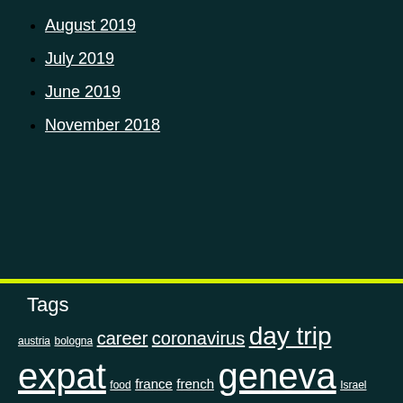August 2019
July 2019
June 2019
November 2018
Tags
austria bologna career coronavirus day trip expat food france french geneva Israel italy life lately lyon montreux solo travel spain Switzerland ticino united states